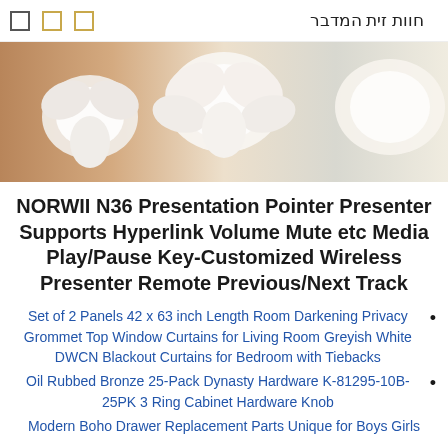חוות זית המדבר
[Figure (photo): Close-up photo of white orchid flowers with warm beige/tan background]
NORWII N36 Presentation Pointer Presenter Supports Hyperlink Volume Mute etc Media Play/Pause Key-Customized Wireless Presenter Remote Previous/Next Track
Set of 2 Panels 42 x 63 inch Length Room Darkening Privacy Grommet Top Window Curtains for Living Room Greyish White DWCN Blackout Curtains for Bedroom with Tiebacks
Oil Rubbed Bronze 25-Pack Dynasty Hardware K-81295-10B-25PK 3 Ring Cabinet Hardware Knob
Modern Boho Drawer Replacement Parts Unique for Boys Girls